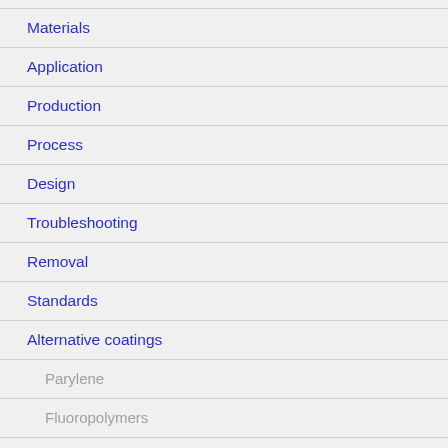Materials
Application
Production
Process
Design
Troubleshooting
Removal
Standards
Alternative coatings
Parylene
Fluoropolymers